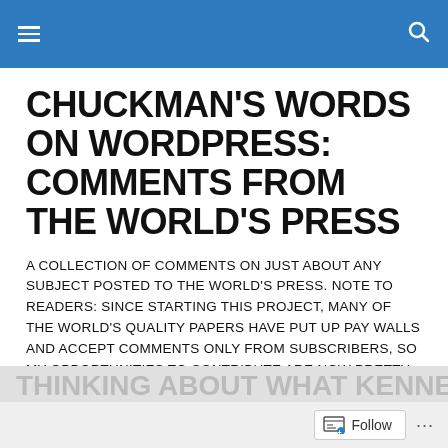[Navigation bar with menu and search icons]
CHUCKMAN'S WORDS ON WORDPRESS: COMMENTS FROM THE WORLD'S PRESS
A COLLECTION OF COMMENTS ON JUST ABOUT ANY SUBJECT POSTED TO THE WORLD'S PRESS. NOTE TO READERS: SINCE STARTING THIS PROJECT, MANY OF THE WORLD'S QUALITY PAPERS HAVE PUT UP PAY WALLS AND ACCEPT COMMENTS ONLY FROM SUBSCRIBERS, SO MY OPPORTUNITIES TO CONTRIBUTE ARE NOW PRETTY LIMITED.
TAGGED WITH WHAT GUY BANNISTER WAS DOING IN NEW ORLEANS
Follow ...